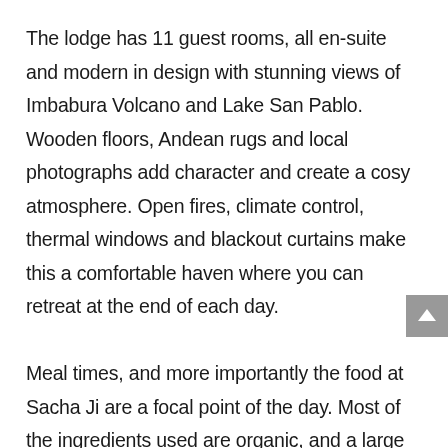The lodge has 11 guest rooms, all en-suite and modern in design with stunning views of Imbabura Volcano and Lake San Pablo. Wooden floors, Andean rugs and local photographs add character and create a cosy atmosphere. Open fires, climate control, thermal windows and blackout curtains make this a comfortable haven where you can retreat at the end of each day.

Meal times, and more importantly the food at Sacha Ji are a focal point of the day. Most of the ingredients used are organic, and a large proportion of this is grown on-site in the lodge gardens, in fact you can